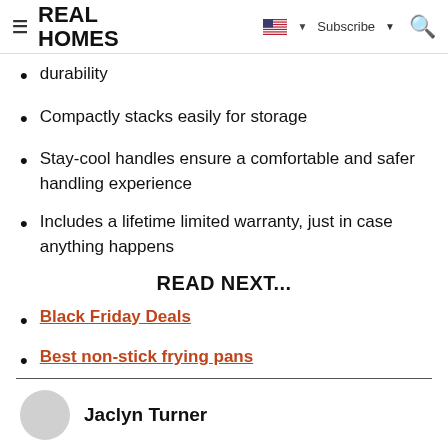REAL HOMES
durability
Compactly stacks easily for storage
Stay-cool handles ensure a comfortable and safer handling experience
Includes a lifetime limited warranty, just in case anything happens
READ NEXT...
Black Friday Deals
Best non-stick frying pans
Jaclyn Turner